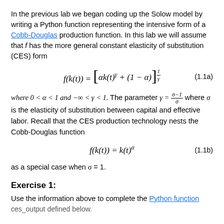In the previous lab we began coding up the Solow model by writing a Python function representing the intensive form of a Cobb-Douglas production function. In this lab we will assume that f has the more general constant elasticity of substitution (CES) form
where 0 < α < 1 and −∞ < γ < 1. The parameter γ = (σ−1)/σ where σ is the elasticity of substitution between capital and effective labor. Recall that the CES production technology nests the Cobb-Douglas function
as a special case when σ = 1.
Exercise 1:
Use the information above to complete the Python function ces_output defined below.